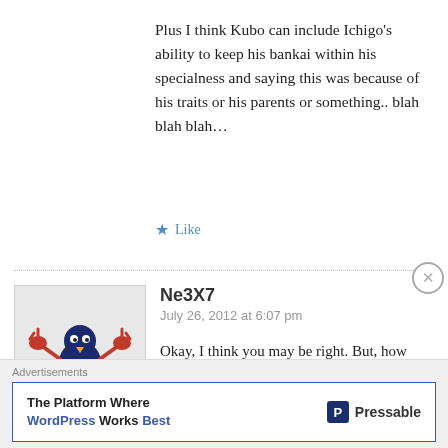Plus I think Kubo can include Ichigo's ability to keep his bankai within his specialness and saying this was because of his traits or his parents or something.. blah blah blah…
★ Like
Ne3X7
July 26, 2012 at 6:07 pm
[Figure (illustration): Avatar image of a cartoon crab-bird character in blue and red colors]
Okay, I think you may be right. But, how dare Kubo kill all the captain? That's impossible!
← Reply
Advertisements
The Platform Where WordPress Works Best   Pressable